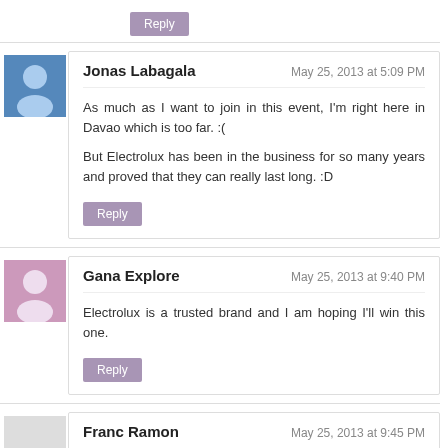Reply
Jonas Labagala
May 25, 2013 at 5:09 PM
As much as I want to join in this event, I'm right here in Davao which is too far. :(

But Electrolux has been in the business for so many years and proved that they can really last long. :D
Reply
Gana Explore
May 25, 2013 at 9:40 PM
Electrolux is a trusted brand and I am hoping I'll win this one.
Reply
Franc Ramon
May 25, 2013 at 9:45 PM
I think this is also a good marketing campaign for Electrolux